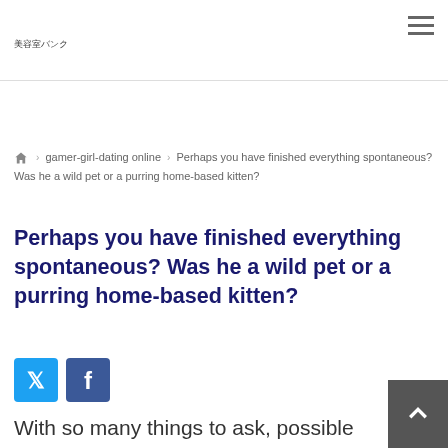美容室バンク
⌂ › gamer-girl-dating online › Perhaps you have finished everything spontaneous? Was he a wild pet or a purring home-based kitten?
Perhaps you have finished everything spontaneous? Was he a wild pet or a purring home-based kitten?
[Figure (other): Twitter and Facebook share buttons]
With so many things to ask, possible never ever run out of his date inquiries